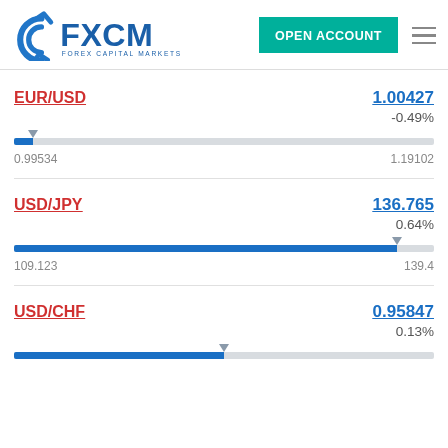[Figure (logo): FXCM Forex Capital Markets logo with teal Open Account button and hamburger menu]
EUR/USD
1.00427
-0.49%
0.99534
1.19102
USD/JPY
136.765
0.64%
109.123
139.4
USD/CHF
0.95847
0.13%